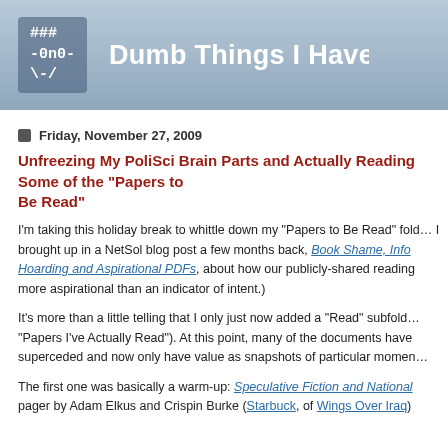### -0n0- \-/   Dumb Things I Have Done...
Friday, November 27, 2009
Unfreezing My PoliSci Brain Parts and Actually Reading Some of the "Papers to Be Read"
I'm taking this holiday break to whittle down my "Papers to Be Read" folder. (A topic I brought up in a NetSol blog post a few months back, Book Shame, Info Hoarding and Aspirational PDFs, about how our publicly-shared reading lists are more aspirational than an indicator of intent.)
It's more than a little telling that I only just now added a "Read" subfolder (called "Papers I've Actually Read"). At this point, many of the documents have been superceded and now only have value as snapshots of particular momen...
The first one was basically a warm-up: Speculative Fiction and National... pager by Adam Elkus and Crispin Burke (Starbuck, of Wings Over Iraq)